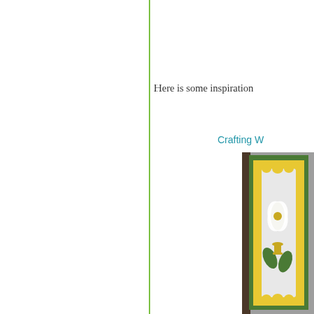Here is some inspiration
Crafting W
[Figure (photo): A handmade greeting card with green and yellow layered border featuring decorative elements on a light background, set against a gray/brown background.]